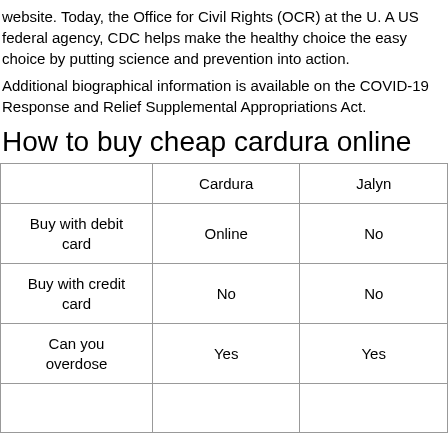website. Today, the Office for Civil Rights (OCR) at the U. A US federal agency, CDC helps make the healthy choice the easy choice by putting science and prevention into action.
Additional biographical information is available on the COVID-19 Response and Relief Supplemental Appropriations Act.
How to buy cheap cardura online
|  | Cardura | Jalyn |
| --- | --- | --- |
| Buy with debit card | Online | No |
| Buy with credit card | No | No |
| Can you overdose | Yes | Yes |